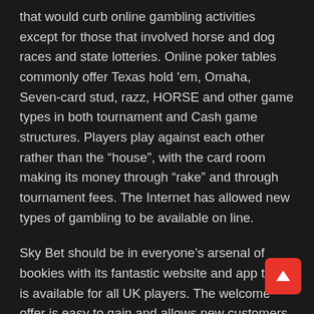that would curb online gambling activities except for those that involved horse and dog races and state lotteries. Online poker tables commonly offer Texas hold 'em, Omaha, Seven-card stud, razz, HORSE and other game types in both tournament and Cash game structures. Players play against each other rather than the “house”, with the card room making its money through “rake” and through tournament fees. The Internet has allowed new types of gambling to be available on line.
Sky Bet should be in everyone’s arsenal of bookies with its fantastic website and app that is available for all UK players. The welcome offer is easy to gain and allows new customers to see the thousands of sports and markets on offer, with football and horse racing particularly impressive. The platforms are easy to navigate, including the great in-play offering. Live streaming is available on a vast number of sports, mainly UK and Irish horse racing but also includes some big football leagues. You can also take advantage of the free-to-play games such as ITV7s